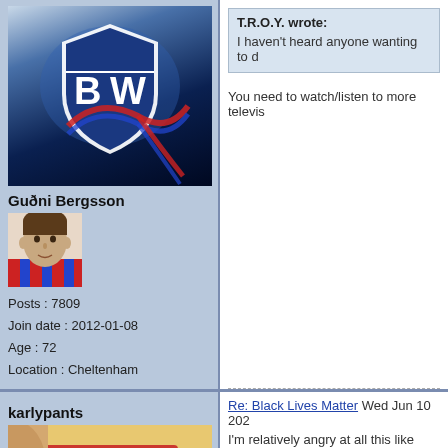[Figure (photo): Bolton Wanderers BW logo on blue abstract background]
Guðni Bergsson
[Figure (photo): Small avatar photo of a man]
Posts : 7809
Join date : 2012-01-08
Age : 72
Location : Cheltenham
T.R.O.Y. wrote:
I haven't heard anyone wanting to d...
You need to watch/listen to more televisi...
karlypants
[Figure (photo): karlypants avatar showing a chocolate bar]
Re: Black Lives Matter Wed Jun 10 202...
I'm relatively angry at all this like most p...